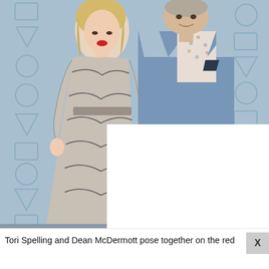[Figure (photo): Tori Spelling and Dean McDermott posing together on a red carpet in front of a blue geometric patterned backdrop. Tori Spelling (left) wears a long-sleeved floral lace dress in grey/black over a nude base. Dean McDermott (right) wears a light blue suit with a floral-patterned shirt and dark pocket square. The lower right portion of the image is obscured by a white rectangle overlay.]
Tori Spelling and Dean McDermott pose together on the red